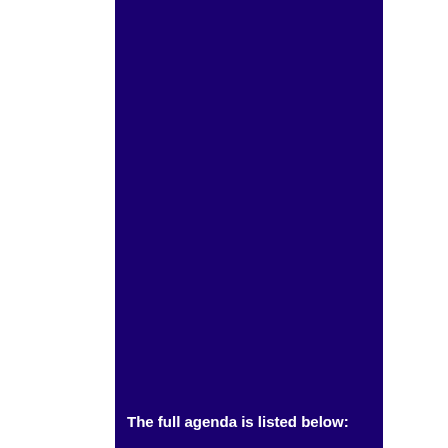[Figure (other): Large dark navy/indigo blue rectangular background block covering the central portion of the page]
The full agenda is listed below: